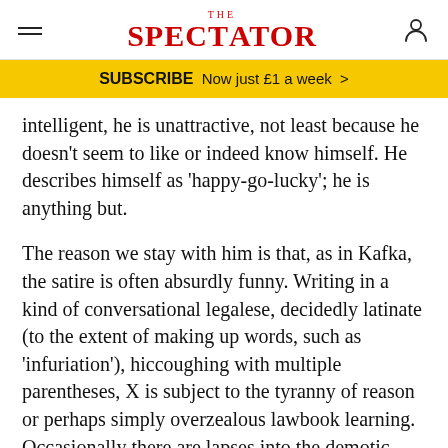THE SPECTATOR
SUBSCRIBE Now just £1 a week >
intelligent, he is unattractive, not least because he doesn't seem to like or indeed know himself. He describes himself as 'happy-go-lucky'; he is anything but.
The reason we stay with him is that, as in Kafka, the satire is often absurdly funny. Writing in a kind of conversational legalese, decidedly latinate (to the extent of making up words, such as 'infuriation'), hiccoughing with multiple parentheses, X is subject to the tyranny of reason or perhaps simply overzealous lawbook learning. Occasionally there are lapses into the demotic, often in the form of